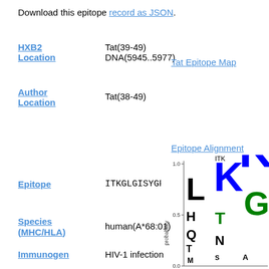Download this epitope record as JSON.
HXB2 Location: Tat(39-49) DNA(5945..5977)
Tat Epitope Map
Author Location: Tat(38-49)
Epitope Alignment
Epitope: ITKGLGISYGR
[Figure (other): Sequence logo showing residue probabilities at each position. Y-axis shows probability from 0.0 to 1.0. Letters I, T, K, G, L, G, I, S, Y, G, R shown in black and blue and green, partially cropped.]
Species (MHC/HLA): human(A*68:01)
Immunogen: HIV-1 infection